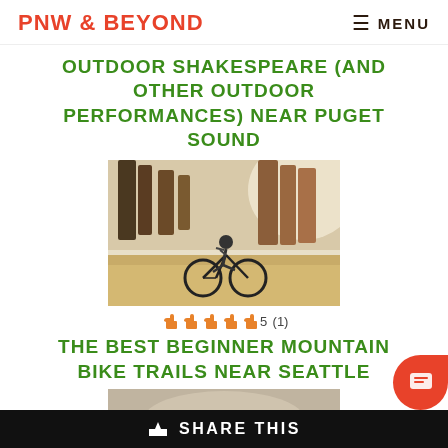PNW & BEYOND | MENU
OUTDOOR SHAKESPEARE (AND OTHER OUTDOOR PERFORMANCES) NEAR PUGET SOUND
[Figure (photo): A person riding a mountain bike on a dry grass field with tall trees in the background, bright sunlit scene]
5 (1)
THE BEST BEGINNER MOUNTAIN BIKE TRAILS NEAR SEATTLE
[Figure (photo): Partial view of the next article image, appearing to show outdoor scenery]
SHARE THIS